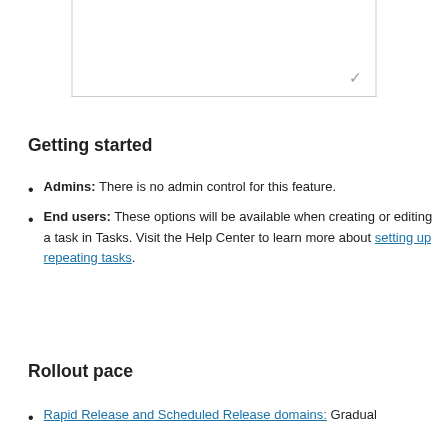[Figure (screenshot): A UI dialog or text input box with a checkmark (✓) in the bottom-right corner, partially visible at top of page.]
Getting started
Admins: There is no admin control for this feature.
End users: These options will be available when creating or editing a task in Tasks. Visit the Help Center to learn more about setting up repeating tasks.
Rollout pace
Rapid Release and Scheduled Release domains: Gradual